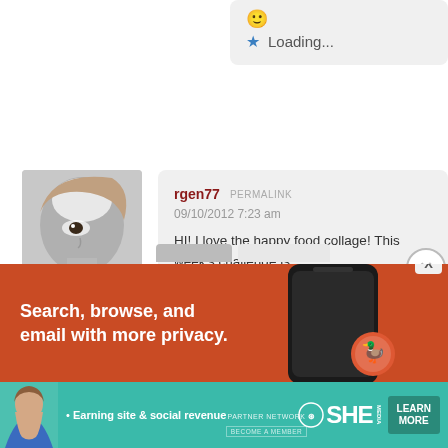[Figure (screenshot): Partial comment bubble top-right showing emoji and Loading... with blue star]
[Figure (photo): Avatar photo of person, black and white, showing eye and partial face]
rgen77  PERMALINK
09/10/2012 7:23 am
HI! I love the happy food collage! This week's challenge is... is always so bouncy and bright 🙂 You have inspired me to... more.
★ Loading...
Advertisements
[Figure (screenshot): DuckDuckGo advertisement banner: Search, browse, and email with more privacy. Orange/red background with phone image.]
[Figure (screenshot): SHE Partner Network advertisement: Earning site & social revenue. Learn More button. Teal background.]